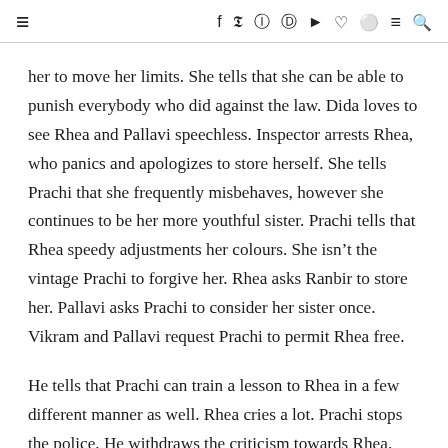≡  f  𝕥  ⊙  ⊕  ▶  ♡  ◉  ≡  🔍
her to move her limits. She tells that she can be able to punish everybody who did against the law. Dida loves to see Rhea and Pallavi speechless. Inspector arrests Rhea, who panics and apologizes to store herself. She tells Prachi that she frequently misbehaves, however she continues to be her more youthful sister. Prachi tells that Rhea speedy adjustments her colours. She isn't the vintage Prachi to forgive her. Rhea asks Ranbir to store her. Pallavi asks Prachi to consider her sister once. Vikram and Pallavi request Prachi to permit Rhea free.
He tells that Prachi can train a lesson to Rhea in a few different manner as well. Rhea cries a lot. Prachi stops the police. He withdraws the criticism towards Rhea. She tells